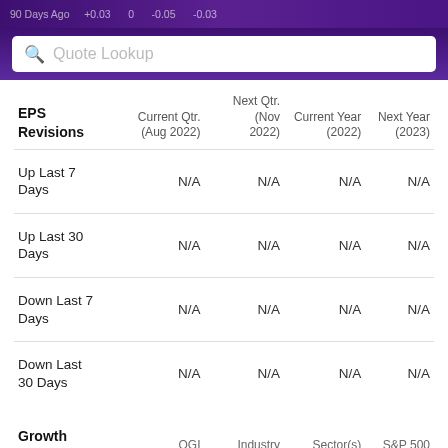90 Days Ago   +0.03   0   -0.05   -0.03
[Figure (screenshot): Search bar with 'Quote Lookup' placeholder text on purple gradient background]
| EPS Revisions | Current Qtr. (Aug 2022) | Next Qtr. (Nov 2022) | Current Year (2022) | Next Year (2023) |
| --- | --- | --- | --- | --- |
| Up Last 7 Days | N/A | N/A | N/A | N/A |
| Up Last 30 Days | N/A | N/A | N/A | N/A |
| Down Last 7 Days | N/A | N/A | N/A | N/A |
| Down Last 30 Days | N/A | N/A | N/A | N/A |
| Growth Estimates | OGI | Industry | Sector(s) | S&P 500 |
| --- | --- | --- | --- | --- |
| Current Qtr. | 71.40% | N/A | N/A | N/A |